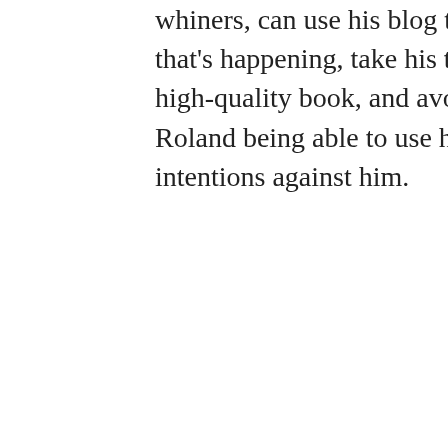whiners, can use his blog to talk about stuff that's happening, take his time to deliver a high-quality book, and avoid people like Roland being able to use his good intentions against him.
Sam | February 26, 2009 01:16
95:
Devin @93: About the only mishandling of communications that GRRM has made was that he made a qualified statement of intent without realising that a significant